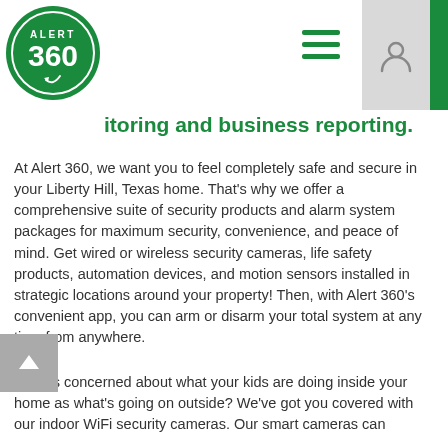[Figure (logo): Alert 360 circular green logo with white text and border]
itoring and business reporting.
At Alert 360, we want you to feel completely safe and secure in your Liberty Hill, Texas home. That’s why we offer a comprehensive suite of security products and alarm system packages for maximum security, convenience, and peace of mind. Get wired or wireless security cameras, life safety products, automation devices, and motion sensors installed in strategic locations around your property! Then, with Alert 360’s convenient app, you can arm or disarm your total system at any time from anywhere.
Just as concerned about what your kids are doing inside your home as what’s going on outside? We’ve got you covered with our indoor WiFi security cameras. Our smart cameras can